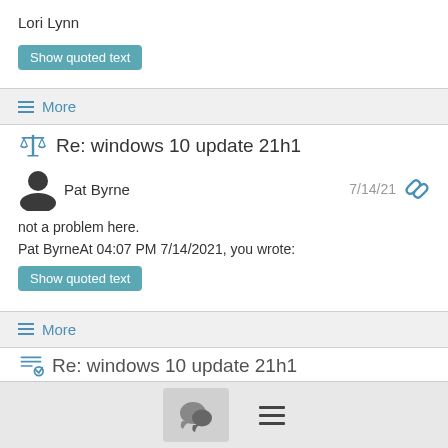Lori Lynn
Show quoted text
≡ More
Re: windows 10 update 21h1
Pat Byrne
7/14/21
not a problem here.
Pat ByrneAt 04:07 PM 7/14/2021, you wrote:
Show quoted text
≡ More
Re: windows 10 update 21h1